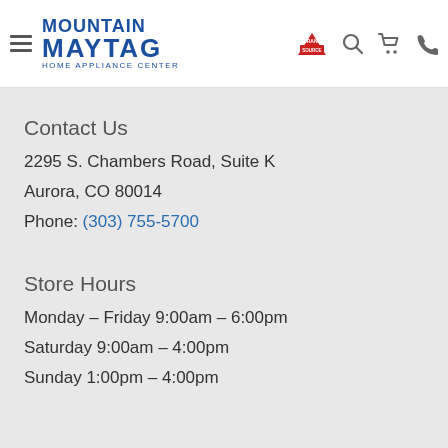[Figure (logo): Mountain Maytag Home Appliance Center logo with navigation icons including hamburger menu, Grand Source badge, search, cart, and phone]
Contact Us
2295 S. Chambers Road, Suite K
Aurora, CO 80014
Phone: (303) 755-5700
Store Hours
Monday – Friday 9:00am – 6:00pm
Saturday 9:00am – 4:00pm
Sunday 1:00pm – 4:00pm